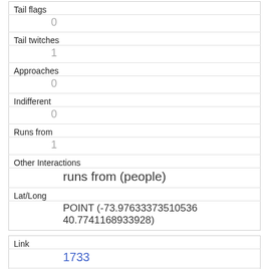| Tail flags | 0 |
| Tail twitches | 1 |
| Approaches | 0 |
| Indifferent | 0 |
| Runs from | 1 |
| Other Interactions | runs from (people) |
| Lat/Long | POINT (-73.97633373510536 40.7741168933928) |
| Link | 1733 |
| rowid | 1733 |
| longitude |  |